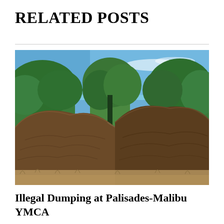RELATED POSTS
[Figure (photo): Outdoor photo showing two large mounds of wood chip mulch or organic debris piled up in an open area, with trees and a blue sky visible in the background. The scene depicts illegal dumping of organic material at what appears to be a natural or semi-wooded area.]
Illegal Dumping at Palisades-Malibu YMCA